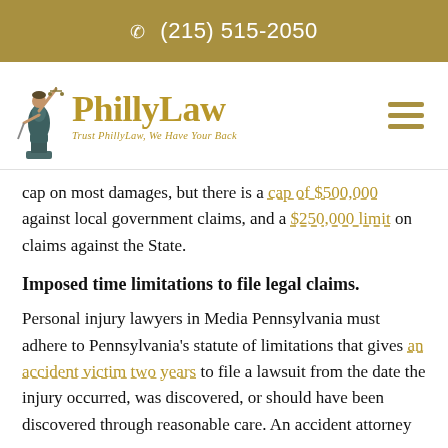☎ (215) 515-2050
[Figure (logo): PhillyLaw logo with lady justice statue and text 'PhillyLaw — Trust PhillyLaw, We Have Your Back']
cap on most damages, but there is a cap of $500,000 against local government claims, and a $250,000 limit on claims against the State.
Imposed time limitations to file legal claims.
Personal injury lawyers in Media Pennsylvania must adhere to Pennsylvania's statute of limitations that gives an accident victim two years to file a lawsuit from the date the injury occurred, was discovered, or should have been discovered through reasonable care. An accident attorney